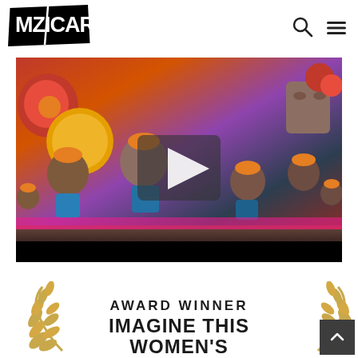MZICAR
[Figure (screenshot): Video player showing animated characters wearing orange hats in a colorful scene, with a play button overlay in the center and a black control bar at the bottom.]
[Figure (illustration): Award winner banner with golden laurel branches on left and right sides. Text reads 'AWARD WINNER IMAGINE THIS WOMEN'S' in bold black letters on white background.]